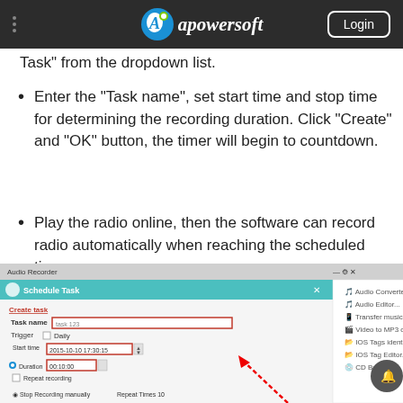Aapowersoft  Login
Task” from the dropdown list.
Enter the “Task name”, set start time and stop time for determining the recording duration. Click “Create” and “OK” button, the timer will begin to countdown.
Play the radio online, then the software can record radio automatically when reaching the scheduled time.
[Figure (screenshot): Screenshot of the Apowersoft Audio Recorder Schedule Task dialog showing Task name field with 'task 123', Trigger Daily checkbox, Start time 2015-10-10 17:30:15, Duration 00:10:00, and Repeat recording checkbox. A side menu shows Audio Converter, Audio Editor, Transfer music to iTunes, Video to MP3 converter, IOS Tags identifier, IOS Tag Editor, CD Burner options. A red dashed arrow points upward.]